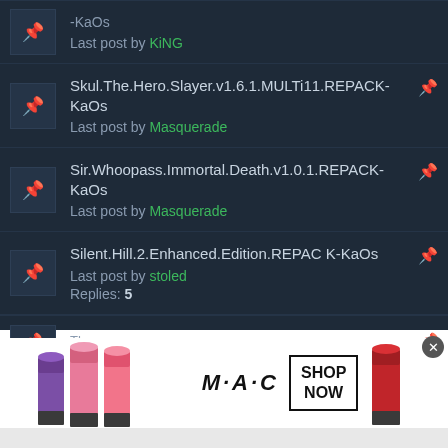Last post by KiNG
Skul.The.Hero.Slayer.v1.6.1.MULTi11.REPACK-KaOs
Last post by Masquerade
Sir.Whoopass.Immortal.Death.v1.0.1.REPACK-KaOs
Last post by Masquerade
Silent.Hill.2.Enhanced.Edition.REPACK-KaOs
Last post by stoled
Replies: 5
[Figure (screenshot): MAC Cosmetics advertisement banner showing lipsticks in purple, pink, and red colors with MAC logo and SHOP NOW button]